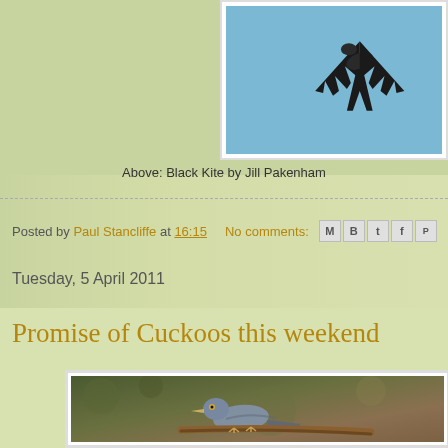[Figure (photo): Black Kite bird photographed against blue sky, bottom portion visible, framed with white border]
Above: Black Kite by Jill Pakenham
Posted by Paul Stancliffe at 16:15   No comments:
Tuesday, 5 April 2011
Promise of Cuckoos this weekend
[Figure (photo): Cuckoo bird perched on a branch, photographed against blurred green/brown background]